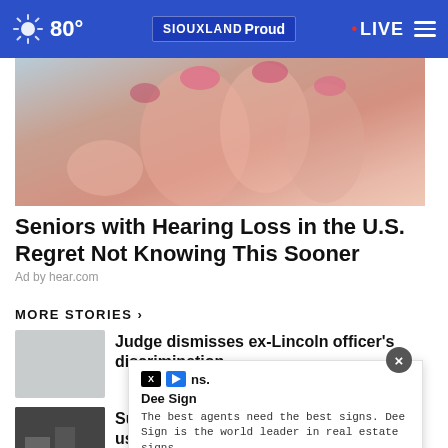80° SIOUXLAND Proud • LIVE
[Figure (photo): Close-up photograph of a person's hand/fingers with pink nail polish, used as advertisement image for hearing loss product]
Seniors with Hearing Loss in the U.S. Regret Not Knowing This Sooner
Ad by hear.com
MORE STORIES ›
Judge dismisses ex-Lincoln officer's discrimination ...
Suspect uses stolen pickup to break into Volga ATM, ...
[Figure (screenshot): Advertisement overlay from Dee Sign: 'The best agents need the best signs. Dee Sign is the world leader in real estate signs.' with OPEN button and close (×) button]